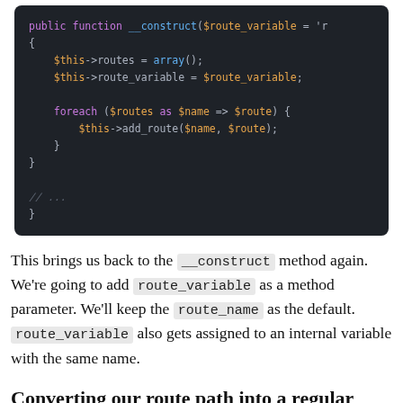[Figure (screenshot): Dark-themed PHP code block showing __construct method with $route_variable parameter, assigning routes and route_variable, and a foreach loop calling add_route.]
This brings us back to the __construct method again. We're going to add route_variable as a method parameter. We'll keep the route_name as the default. route_variable also gets assigned to an internal variable with the same name.
Converting our route path into a regular